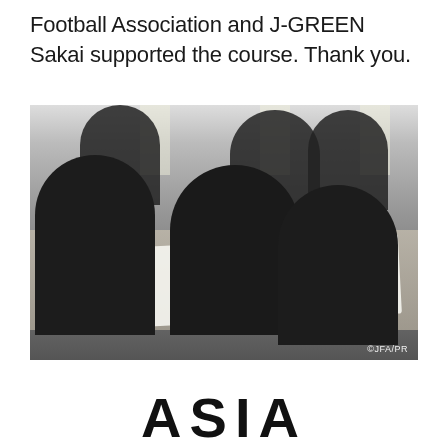Football Association and J-GREEN Sakai supported the course. Thank you.
[Figure (photo): Group of men in black uniforms seated around a table, studying documents. One has a laptop, another holds a phone. Photo credit: ©JFA/PR]
ASIA